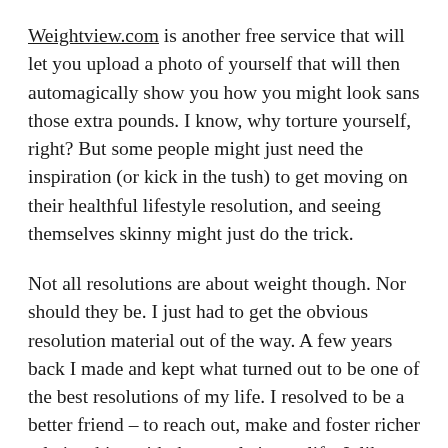Weightview.com is another free service that will let you upload a photo of yourself that will then automagically show you how you might look sans those extra pounds. I know, why torture yourself, right? But some people might just need the inspiration (or kick in the tush) to get moving on their healthful lifestyle resolution, and seeing themselves skinny might just do the trick.
Not all resolutions are about weight though. Nor should they be. I just had to get the obvious resolution material out of the way. A few years back I made and kept what turned out to be one of the best resolutions of my life. I resolved to be a better friend – to reach out, make and foster richer relationships with the people in my life. I, like so many people do, got caught up in my career and my professional interests and was horribly neglectful of my friends. As a result, I found myself on the career path I wanted, but really lacking in the